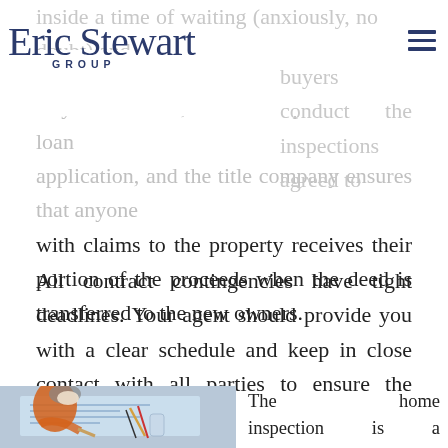Eric Stewart GROUP
buyers conduct the inspections agreed to in your contract, the lender processes the loan application, and the title company ensures that anyone with claims to the property receives their portion of the proceeds when the deed is transferred to the new owners.
All contract contingencies have tight deadlines. Your agent should provide you with a clear schedule and keep in close contact with all parties to ensure the deadlines are met.
[Figure (photo): Person in orange shirt leaning over blueprints/architectural drawings on a table, with pencils and a glass in view]
The home inspection is a milestone in this process.